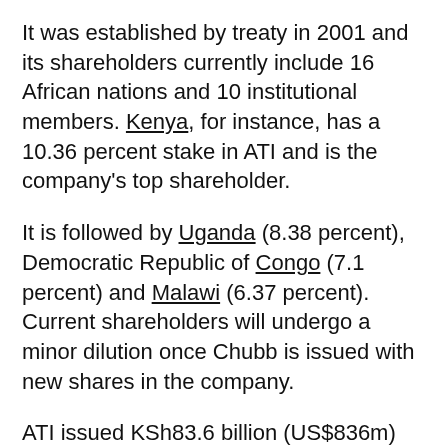It was established by treaty in 2001 and its shareholders currently include 16 African nations and 10 institutional members. Kenya, for instance, has a 10.36 percent stake in ATI and is the company's top shareholder.
It is followed by Uganda (8.38 percent), Democratic Republic of Congo (7.1 percent) and Malawi (6.37 percent). Current shareholders will undergo a minor dilution once Chubb is issued with new shares in the company.
ATI issued KSh83.6 billion (US$836m) covers in Kenya last year, with the company assuming